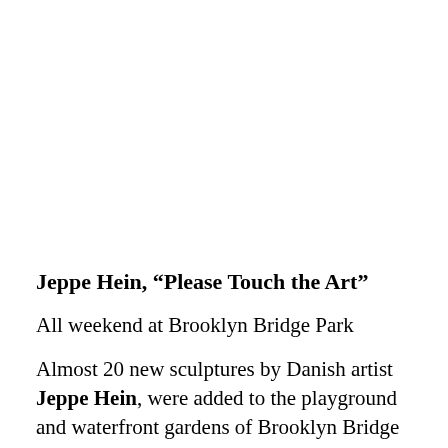Jeppe Hein, “Please Touch the Art”
All weekend at Brooklyn Bridge Park
Almost 20 new sculptures by Danish artist Jeppe Hein, were added to the playground and waterfront gardens of Brooklyn Bridge Park. The sculptures